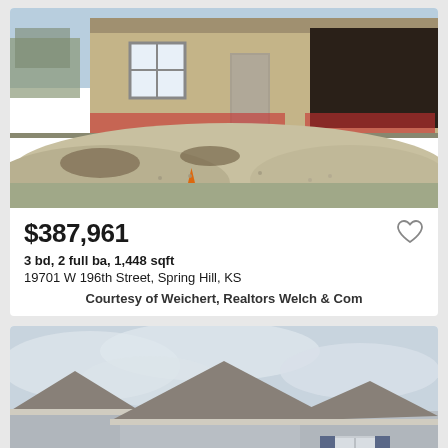[Figure (photo): Construction photo of a new build home with tan/brown exterior siding, a two-car garage opening visible, and a large mound of gravel/dirt in the foreground. Neighboring houses visible in background.]
$387,961
3 bd, 2 full ba, 1,448 sqft
19701 W 196th Street, Spring Hill, KS
Courtesy of Weichert, Realtors Welch & Com
[Figure (photo): Front exterior photo of a completed newer construction home with gray horizontal siding, a two-car garage door, peaked rooflines with gray/brown shingles, blue shutters on windows, and a cloudy sky background.]